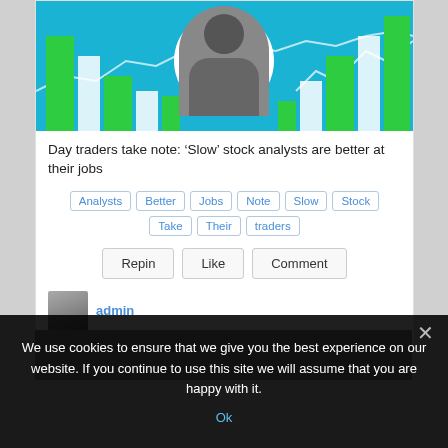[Figure (illustration): Decorative hero image with cyan/teal background, green and white bar chart bars, white line chart overlay, and a black-and-white photo of a person with money/cash in a white circle]
Day traders take note: ‘Slow’ stock analysts are better at their jobs
Analysts
Better
Jobs
Note
Slow
Stock
Take
Their
traders
Repin  Like  Comment
admin
[Figure (photo): Partial view of a second article's hero image at the bottom]
We use cookies to ensure that we give you the best experience on our website. If you continue to use this site we will assume that you are happy with it.
Ok